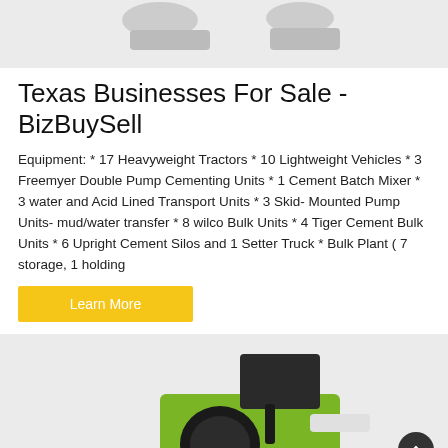[Figure (photo): Top partial image of equipment/tractors on a light gray background]
Texas Businesses For Sale - BizBuySell
Equipment: * 17 Heavyweight Tractors * 10 Lightweight Vehicles * 3 Freemyer Double Pump Cementing Units * 1 Cement Batch Mixer * 3 water and Acid Lined Transport Units * 3 Skid- Mounted Pump Units- mud/water transfer * 8 wilco Bulk Units * 4 Tiger Cement Bulk Units * 6 Upright Cement Silos and 1 Setter Truck * Bulk Plant ( 7 storage, 1 holding
Learn More
[Figure (photo): Bottom partial image of green and black heavy equipment/tractor with dark box on top, on light gray background]